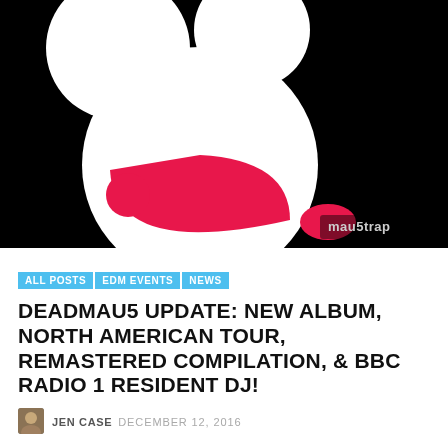[Figure (illustration): deadmau5 logo — white circular mouse head with two white ears on a black background, with a large pink/red smile shape and a small pink oval at bottom right. Mau5trap watermark in bottom right corner.]
ALL POSTS
EDM EVENTS
NEWS
DEADMAU5 UPDATE: NEW ALBUM, NORTH AMERICAN TOUR, REMASTERED COMPILATION, & BBC RADIO 1 RESIDENT DJ!
JEN CASE  DECEMBER 12, 2016
deadmau5 recently released his sixth studio album W:/2016ALBUM/ as his first release as an independent